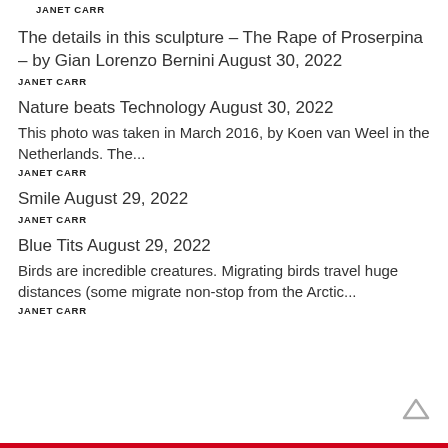JANET CARR
The details in this sculpture – The Rape of Proserpina – by Gian Lorenzo Bernini August 30, 2022
JANET CARR
Nature beats Technology August 30, 2022
This photo was taken in March 2016, by Koen van Weel in the Netherlands. The...
JANET CARR
Smile August 29, 2022
JANET CARR
Blue Tits August 29, 2022
Birds are incredible creatures. Migrating birds travel huge distances (some migrate non-stop from the Arctic...
JANET CARR